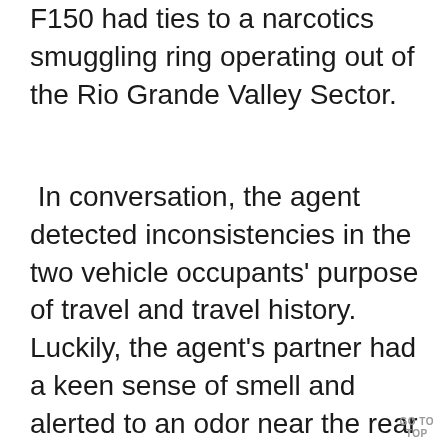F150 had ties to a narcotics smuggling ring operating out of the Rio Grande Valley Sector.
In conversation, the agent detected inconsistencies in the two vehicle occupants' purpose of travel and travel history. Luckily, the agent's partner had a keen sense of smell and alerted to an odor near the rear passenger door of the truck. Under the rear passenger seat the agent discovered a large plastic bag containing fifty packages of methamphetamine, cocaine, and fentanyl weighing 6
GO TO TOP